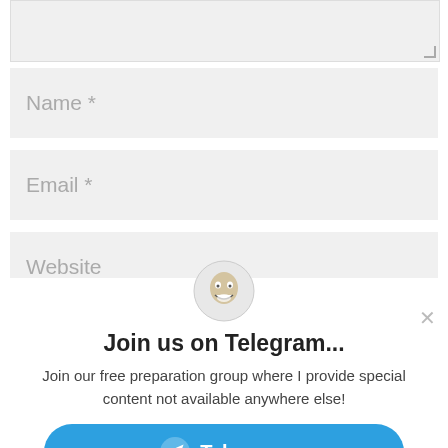[Figure (screenshot): Textarea input field (partially visible, grayed out) with resize handle at bottom right]
Name *
Email *
Website
Submit Comment
[Figure (screenshot): Popup overlay with avatar, blue bar, Telegram join prompt, and Telegram button. Title: Join us on Telegram... Body: Join our free preparation group where I provide special content not available anywhere else! Button: Telegram]
Join us on Telegram...
Join our free preparation group where I provide special content not available anywhere else!
Telegram